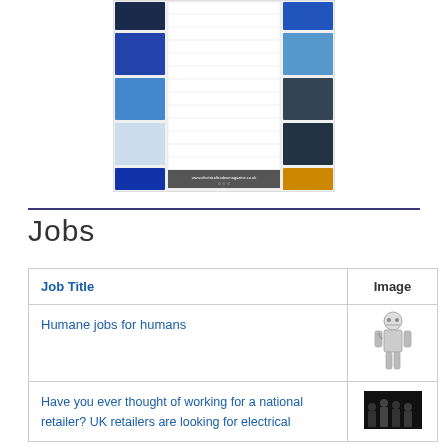[Figure (screenshot): Screenshot of an electrical trade magazine page layout showing a grid of advertisements and content panels with the website www.electricaltradeamagazine.co.uk at the bottom]
Jobs
| Job Title | Image |
| --- | --- |
| Humane jobs for humans | [robot image] |
| Have you ever thought of working for a national retailer? UK retailers are looking for electrical | [dark image] |